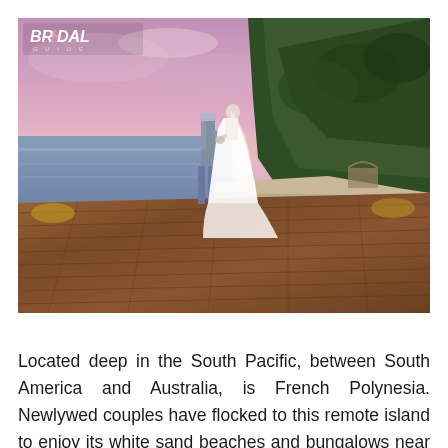[Figure (photo): A bride and groom standing on a wooden deck/pier holding hands, viewed from behind, overlooking the ocean with palm trees and a pink-purple sunset sky. A Bridal Guide logo appears in the top-left corner of the image.]
Located deep in the South Pacific, between South America and Australia, is French Polynesia. Newlywed couples have flocked to this remote island to enjoy its white sand beaches and bungalows near crystal clear waters. As per our wedding planning guide, the location is fantastic if you